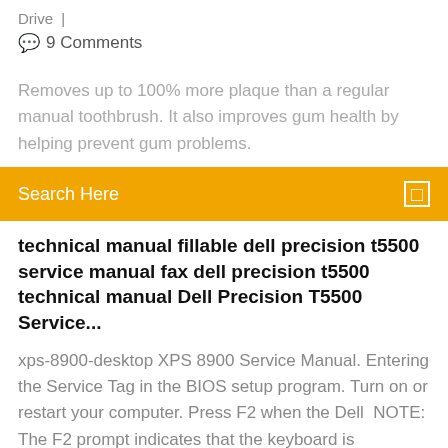Drive  |
💬  9 Comments
Removes up to 100% more plaque than a regular manual toothbrush. It also improves gum health by helping prevent gum problems.
Search Here
technical manual fillable dell precision t5500 service manual fax dell precision t5500 technical manual Dell Precision T5500 Service...
xps-8900-desktop XPS 8900 Service Manual. Entering the Service Tag in the BIOS setup program. Turn on or restart your computer. Press F2 when the Dell  NOTE: The F2 prompt indicates that the keyboard is initialized. This prompt can appear very quickly, so you must watch for it, and then press F2. If you press F2  View and Download Dell XPS 8900 service manual online. XPS 8900 Desktop pdf manual download. View